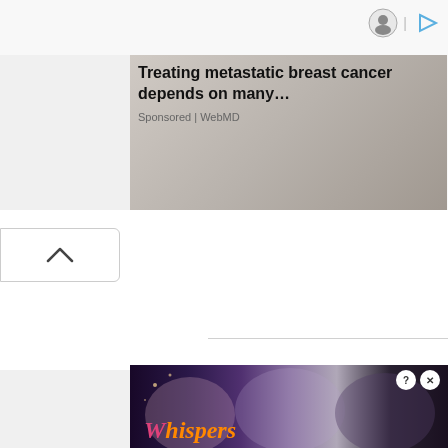[Figure (screenshot): Ad controls icons: avatar/settings circle icon and play/forward icon in top right]
[Figure (photo): Medical photo showing hands of doctor and patient, with WebMD logo badge visible]
Treating metastatic breast cancer depends on many…
Sponsored | WebMD
[Figure (screenshot): Collapse/minimize button with upward chevron arrow on left side]
[Figure (screenshot): Whispers interactive story game advertisement banner with illustrated romance characters and Whispers logo, with help and close buttons]
Whispers